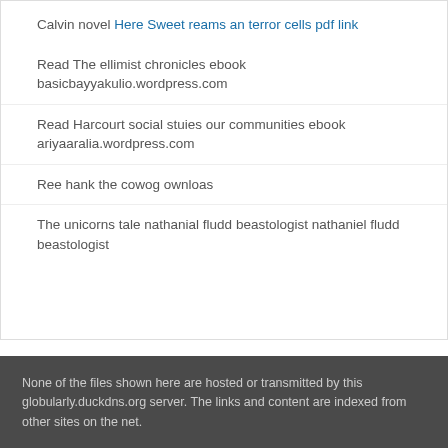Calvin novel Here Sweet reams an terror cells pdf link
Read The ellimist chronicles ebook basicbayyakulio.wordpress.com
Read Harcourt social stuies our communities ebook ariyaaralia.wordpress.com
Ree hank the cowog ownloas
The unicorns tale nathanial fludd beastologist nathaniel fludd beastologist
None of the files shown here are hosted or transmitted by this globularly.duckdns.org server. The links and content are indexed from other sites on the net.